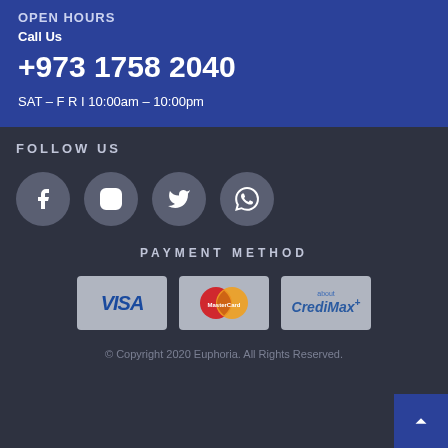OPEN HOURS
Call Us
+973 1758 2040
SAT – F R I 10:00am – 10:00pm
FOLLOW US
[Figure (infographic): Four social media icon circles: Facebook, Instagram, Twitter, WhatsApp]
PAYMENT METHOD
[Figure (infographic): Three payment card logos: VISA, MasterCard, CrediMax]
© Copyright 2020 Euphoria. All Rights Reserved.